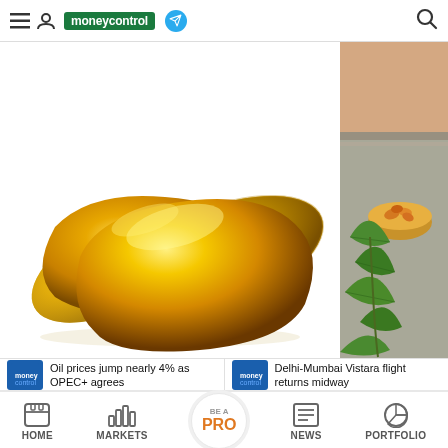moneycontrol
[Figure (photo): Two golden/yellow fish oil gel capsules on a white background]
[Figure (photo): Partial view of green leaves and small orange capsules in a wooden bowl on a wooden surface with a hand partially visible]
Oil prices jump nearly 4% as OPEC+ agrees
Delhi-Mumbai Vistara flight returns midway
HOME  MARKETS  BE A PRO  NEWS  PORTFOLIO